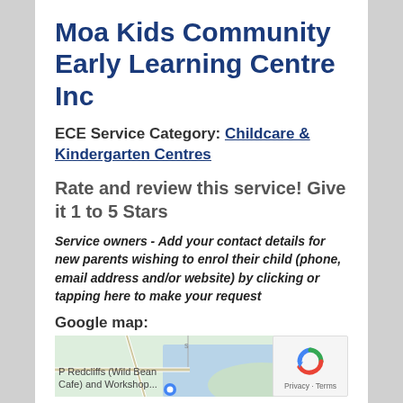Moa Kids Community Early Learning Centre Inc
ECE Service Category: Childcare & Kindergarten Centres
Rate and review this service! Give it 1 to 5 Stars
Service owners - Add your contact details for new parents wishing to enrol their child (phone, email address and/or website) by clicking or tapping here to make your request
Google map:
[Figure (map): Google map showing Redcliffs area with Wild Bean Cafe and Workshop location marked]